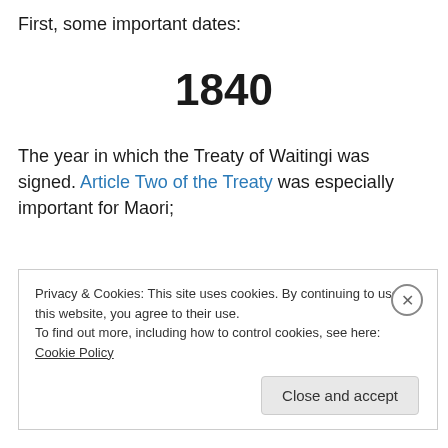First, some important dates:
1840
The year in which the Treaty of Waitingi was signed. Article Two of the Treaty was especially important for Maori;
Privacy & Cookies: This site uses cookies. By continuing to use this website, you agree to their use.
To find out more, including how to control cookies, see here: Cookie Policy
Close and accept